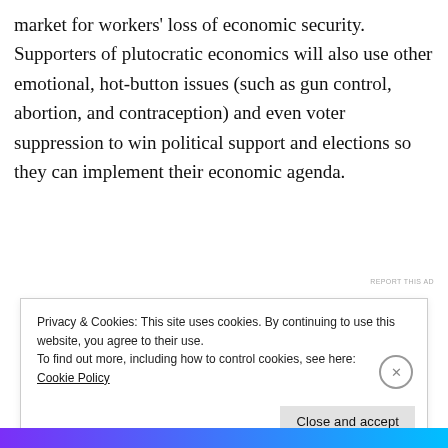market for workers' loss of economic security. Supporters of plutocratic economics will also use other emotional, hot-button issues (such as gun control, abortion, and contraception) and even voter suppression to win political support and elections so they can implement their economic agenda.
[Figure (screenshot): Dark advertisement banner with icon, green text 'money-making online course.' and right arrow]
Privacy & Cookies: This site uses cookies. By continuing to use this website, you agree to their use.
To find out more, including how to control cookies, see here:
Cookie Policy